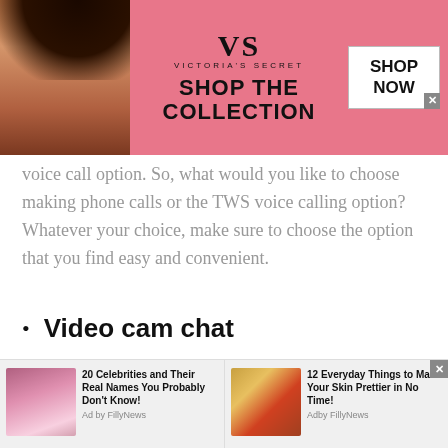[Figure (screenshot): Victoria's Secret advertisement banner with pink background, model on left, VS logo, 'SHOP THE COLLECTION' text, and white 'SHOP NOW' button]
voice call option. So, what would you like to choose making phone calls or the TWS voice calling option? Whatever your choice, make sure to choose the option that you find easy and convenient.
Video cam chat
Nothing is better than having an uninterrupted online video chat. Talking to strangers in Mozambique via video cam chat is too easy and free of cost. In fact, it is fun to use anywhere in the world.
[Figure (screenshot): Bottom advertisement bar with two ads: '20 Celebrities and Their Real Names You Probably Don't Know!' and '12 Everyday Things to Make Your Skin Prettier in No Time!' - Ad by FillyNews]